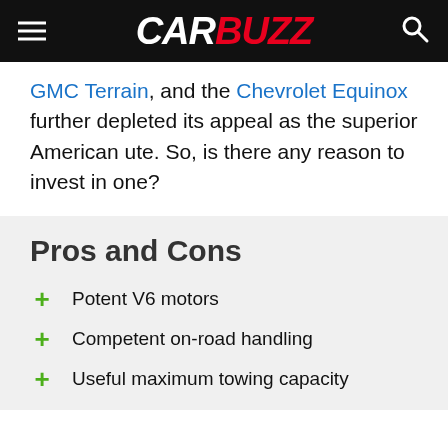CARBUZZ
GMC Terrain, and the Chevrolet Equinox further depleted its appeal as the superior American ute. So, is there any reason to invest in one?
Pros and Cons
Potent V6 motors
Competent on-road handling
Useful maximum towing capacity